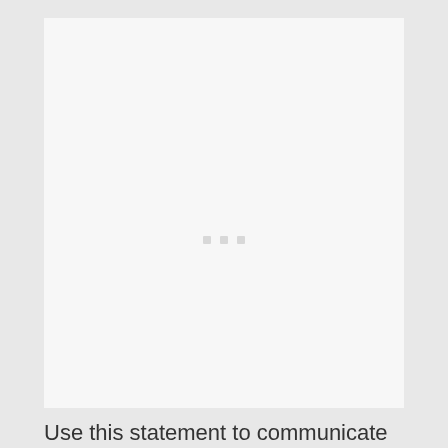[Figure (other): A large light gray/off-white rectangular placeholder box with three small light gray square dots centered in the middle, indicating a loading or placeholder image area.]
Use this statement to communicate